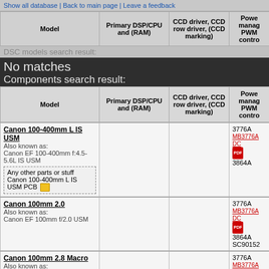Show all database | Back to main page | Leave a feedback
| Model | Primary DSP/CPU and (RAM) | CCD driver, CCD row driver, (CCD marking) | Power manag PWM contro |
| --- | --- | --- | --- |
DSC models search result:
No matches
Components search result:
| Model | Primary DSP/CPU and (RAM) | CCD driver, CCD row driver, (CCD marking) | Power manag PWM contro |
| --- | --- | --- | --- |
| Canon 100-400mm L IS USM
Also known as:
Canon EF 100-400mm f:4.5-5.6L IS USM
Any other parts or stuff Canon 100-400mm L IS USM PCB [folder] |  |  | 3776A
MB3776A DC
[pdf]
3864A |
| Canon 100mm 2.0
Also known as:
Canon EF 100mm f/2.0 USM |  |  | 3776A
MB3776A DC
[pdf]
3864A
SC90152 |
| Canon 100mm 2.8 Macro
Also known as:
Canon EF 100mm 1:2.8 Macro USM
Any other parts or stuff Canon 100mm 2.8 Macro PCB [folder] |  |  | 3776A
MB3776A DC
[pdf]
3864A |
| Canon 16-35 1:2.8 L II |  |  |  |